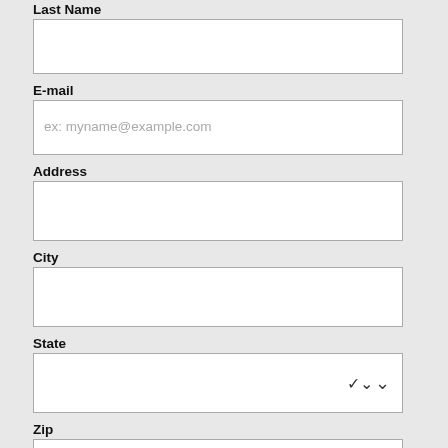Last Name
E-mail
ex: myname@example.com
Address
City
State
Zip
Phone 1
Best Time To Call
Day